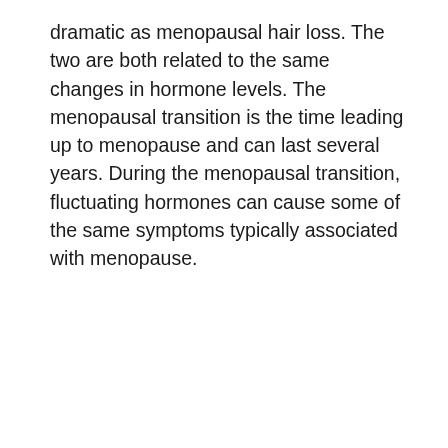dramatic as menopausal hair loss. The two are both related to the same changes in hormone levels. The menopausal transition is the time leading up to menopause and can last several years. During the menopausal transition, fluctuating hormones can cause some of the same symptoms typically associated with menopause.